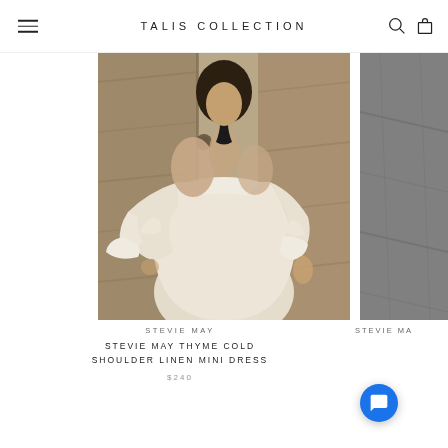TALIS COLLECTION
[Figure (photo): Woman wearing a white ruffled cold shoulder linen mini dress with a black neck tie, posed against a wooden door background]
STEVIE MAY
STEVIE MAY THYME COLD SHOULDER LINEN MINI DRESS
$240
[Figure (photo): Partial view of another product in grey/dark tones]
STEVIE MA